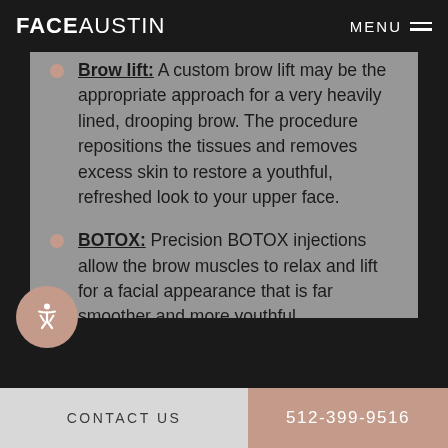FACE AUSTIN  MENU
Brow lift: A custom brow lift may be the appropriate approach for a very heavily lined, drooping brow. The procedure repositions the tissues and removes excess skin to restore a youthful, refreshed look to your upper face.
BOTOX: Precision BOTOX injections allow the brow muscles to relax and lift for a facial appearance that is far smoother and more youthful.
CONTACT US  512-399-9516